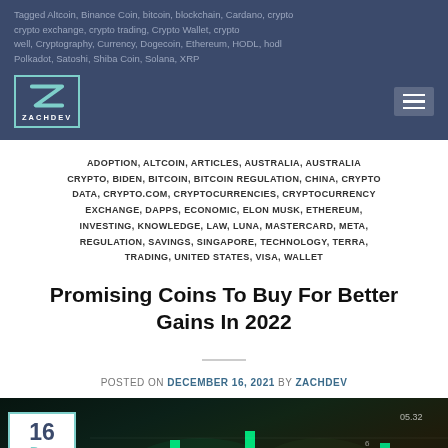Tagged Altcoin, Binance Coin, bitcoin, blockchain, Cardano, crypto, crypto exchange, crypto trading, Crypto Wallet, crypto well, Cryptography, Currency, Dogecoin, Ethereum, HODL, hodling, Polkadot, Satoshi, Shiba Coin, Solana, XRP
ADOPTION, ALTCOIN, ARTICLES, AUSTRALIA, AUSTRALIA CRYPTO, BIDEN, BITCOIN, BITCOIN REGULATION, CHINA, CRYPTO DATA, CRYPTO.COM, CRYPTOCURRENCIES, CRYPTOCURRENCY EXCHANGE, DAPPS, ECONOMIC, ELON MUSK, ETHEREUM, INVESTING, KNOWLEDGE, LAW, LUNA, MASTERCARD, META, REGULATION, SAVINGS, SINGAPORE, TECHNOLOGY, TERRA, TRADING, UNITED STATES, VISA, WALLET
Promising Coins To Buy For Better Gains In 2022
POSTED ON DECEMBER 16, 2021 BY ZACHDEV
[Figure (photo): Financial chart with glowing green bars and cryptocurrency imagery, dark background with trading data. Date badge showing 16 Dec.]